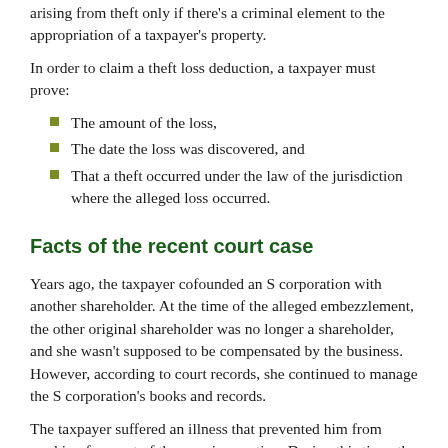arising from theft only if there's a criminal element to the appropriation of a taxpayer's property.
In order to claim a theft loss deduction, a taxpayer must prove:
The amount of the loss,
The date the loss was discovered, and
That a theft occurred under the law of the jurisdiction where the alleged loss occurred.
Facts of the recent court case
Years ago, the taxpayer cofounded an S corporation with another shareholder. At the time of the alleged embezzlement, the other original shareholder was no longer a shareholder, and she wasn't supposed to be compensated by the business. However, according to court records, she continued to manage the S corporation's books and records.
The taxpayer suffered an illness that prevented him from working for most of the year in question. During this time, the former shareholder paid herself $166,494. Later, the taxpayer filed a civil suit in a California court alleging that the woman had misappropriated funds from the business.